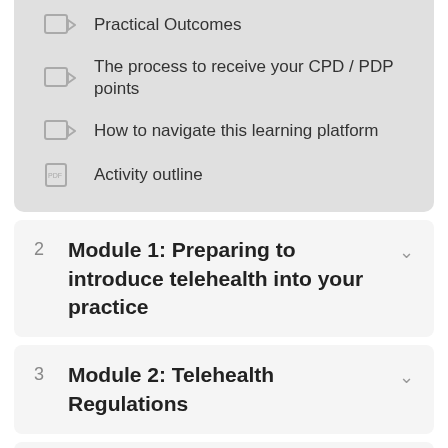Practical Outcomes
The process to receive your CPD / PDP points
How to navigate this learning platform
Activity outline
2  Module 1: Preparing to introduce telehealth into your practice
3  Module 2: Telehealth Regulations
4  Module 3: Risk, Insurance and Revenue Models & Suitable Presentations Models
5  Module 4: Incorporating Telehealth